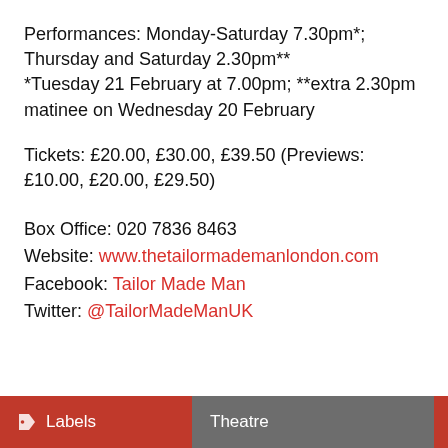Performances:  Monday-Saturday 7.30pm*; Thursday and Saturday 2.30pm**
*Tuesday 21 February at 7.00pm; **extra 2.30pm matinee on Wednesday 20 February
Tickets:  £20.00, £30.00, £39.50 (Previews: £10.00, £20.00, £29.50)
Box Office:  020 7836 8463
Website:  www.thetailormademanlondon.com
Facebook:  Tailor Made Man
Twitter:  @TailorMadeManUK
Labels  Theatre